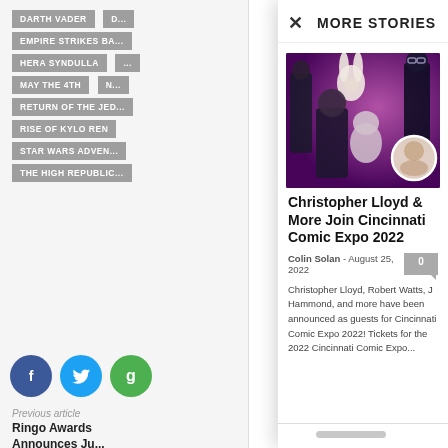DARTH VADER
EMPIRE STRIKES BACK
HERA SYNDULLA
MAY THE 4TH
RETURN OF THE JEDI
RISE OF KYLO REN
STAR WARS ADVENTURES
THE HIGH REPUBLIC
Previous article
Ringo Awards Announces Ju...
MORE STORIES
[Figure (photo): Promotional collage featuring Christopher Lloyd and other actors/characters on a purple background]
Christopher Lloyd & More Join Cincinnati Comic Expo 2022
Colin Solan  -  August 25, 2022
Christopher Lloyd, Robert Watts, J Hammond, and more have been announced as guests for Cincinnati Comic Expo 2022! Tickets for the 2022 Cincinnati Comic Expo...